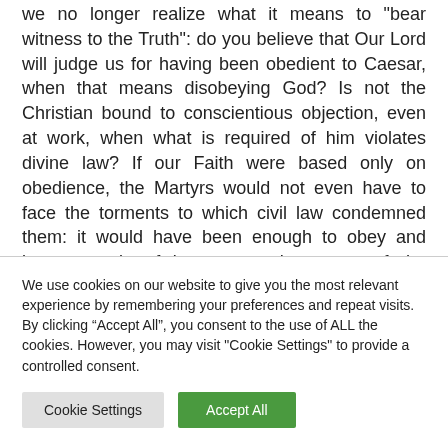we no longer realize what it means to "bear witness to the Truth": do you believe that Our Lord will judge us for having been obedient to Caesar, when that means disobeying God? Is not the Christian bound to conscientious objection, even at work, when what is required of him violates divine law? If our Faith were based only on obedience, the Martyrs would not even have to face the torments to which civil law condemned them: it would have been enough to obey and burn a grain of incense to the statue of the Emperor.
We are not yet, at least in Italy, faced with the crucial choice
We use cookies on our website to give you the most relevant experience by remembering your preferences and repeat visits. By clicking “Accept All”, you consent to the use of ALL the cookies. However, you may visit "Cookie Settings" to provide a controlled consent.